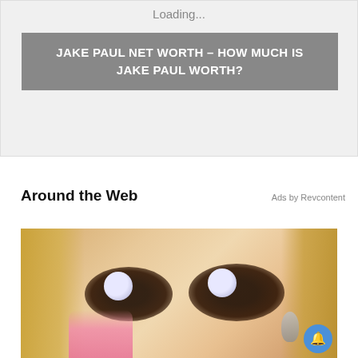Loading...
JAKE PAUL NET WORTH – HOW MUCH IS JAKE PAUL WORTH?
Around the Web
Ads by Revcontent
[Figure (photo): Close-up photo of a woman with extreme dark mascara/eye makeup smudged around both eyes, blonde hair, pink nails applying makeup, wearing a dangling earring. A blue notification bell button appears in the bottom right corner.]